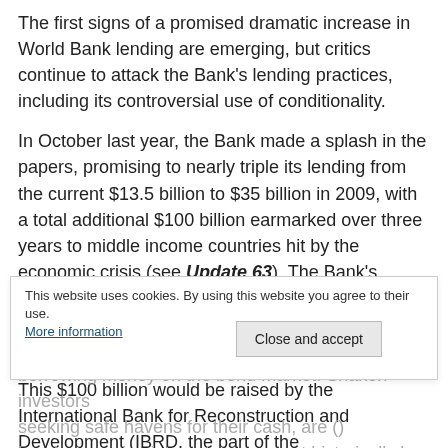The first signs of a promised dramatic increase in World Bank lending are emerging, but critics continue to attack the Bank's lending practices, including its controversial use of conditionality.
In October last year, the Bank made a splash in the papers, promising to nearly triple its lending from the current $13.5 billion to $35 billion in 2009, with a total additional $100 billion earmarked over three years to middle income countries hit by the economic crisis (see Update 63). The Bank's private sector lending arm, the International Finance Corporation (IFC) has also been actively seeking to increase its spending (see Update 64).
This $100 billion would be raised by the International Bank for Reconstruction and Development (IBRD, the part of the Bank that lends to governments on commercial terms), by borrowing money on the bond market. Shaken investors seeking safe havens for their cash, are (text obscured) bonds, meaning interest rates are at historically low levels
This website uses cookies. By using this website you agree to their use.
More information
Close and accept